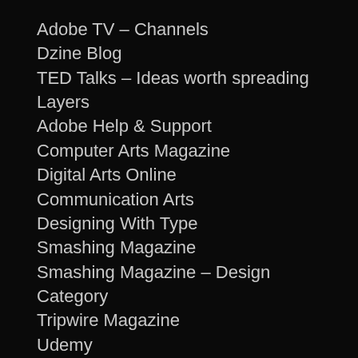Adobe TV – Channels
Dzine Blog
TED Talks – Ideas worth spreading
Layers
Adobe Help & Support
Computer Arts Magazine
Digital Arts Online
Communication Arts
Designing With Type
Smashing Magazine
Smashing Magazine – Design Category
Tripwire Magazine
Udemy
Photoshop Essentials
PSD Learning
psd tuts+